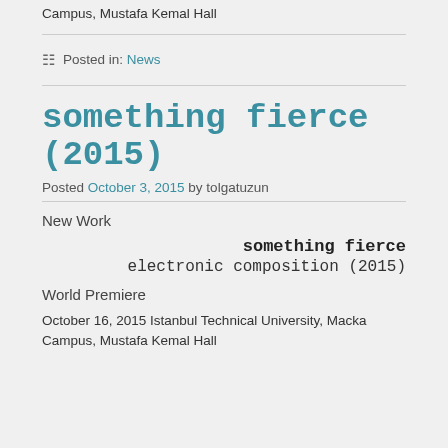Campus, Mustafa Kemal Hall
Posted in: News
something fierce (2015)
Posted October 3, 2015 by tolgatuzun
New Work
something fierce
electronic composition (2015)
World Premiere
October 16, 2015 Istanbul Technical University, Macka Campus, Mustafa Kemal Hall